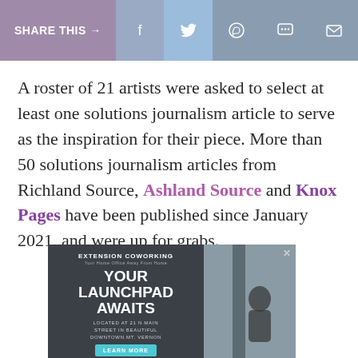SHARE THIS → f  (twitter) (whatsapp) (chat) (mail)
A roster of 21 artists were asked to select at least one solutions journalism article to serve as the inspiration for their piece. More than 50 solutions journalism articles from Richland Source, Ashland Source and Knox Pages have been published since January 2021, and were up for grabs.
[Figure (other): Loading spinner (circular loading indicator, half circle outline)]
[Figure (other): Advertisement for Extension Coworking. Text: EXTENSION COWORKING / Your Home Office Away From Home / YOUR LAUNCHPAD AWAITS / LOCATED AT 21 N MAIN STREET IN BEAUTIFUL DOWNTOWN MT. VERNON. Blue CTA button at bottom. Right side shows a blurred street/cafe photo with a dark pole and person silhouette.]